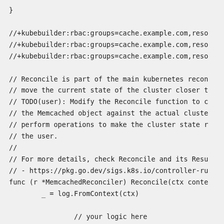}

//+kubebuilder:rbac:groups=cache.example.com,reso
//+kubebuilder:rbac:groups=cache.example.com,reso
//+kubebuilder:rbac:groups=cache.example.com,reso

// Reconcile is part of the main kubernetes recon
// move the current state of the cluster closer t
// TODO(user): Modify the Reconcile function to c
// the Memcached object against the actual cluste
// perform operations to make the cluster state r
// the user.
//
// For more details, check Reconcile and its Resu
// - https://pkg.go.dev/sigs.k8s.io/controller-ru
func (r *MemcachedReconciler) Reconcile(ctx conte
        _ = log.FromContext(ctx)

                // your logic here

                return ctrl.Result{}, nil